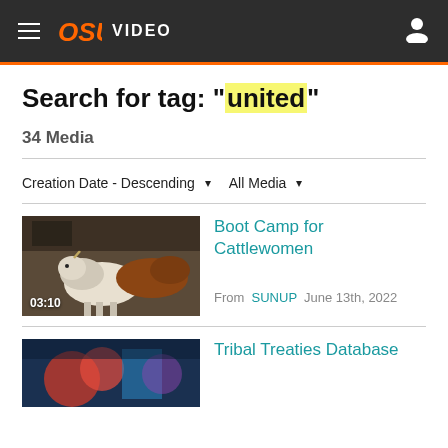OSU VIDEO
Search for tag: "united"
34 Media
Creation Date - Descending  All Media
Boot Camp for Cattlewomen
From SUNUP June 13th, 2022
Tribal Treaties Database